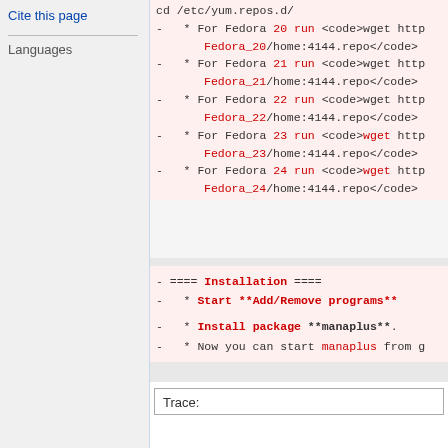Cite this page
Languages
* For Fedora 20 run wget http...Fedora_20/home:4144.repo
* For Fedora 21 run wget http...Fedora_21/home:4144.repo
* For Fedora 22 run wget http...Fedora_22/home:4144.repo
* For Fedora 23 run wget http...Fedora_23/home:4144.repo
* For Fedora 24 run wget http...Fedora_24/home:4144.repo
==== Installation ====
* Start **Add/Remove programs**
* Install package **manaplus**.
* Now you can start manaplus from g...
Trace: